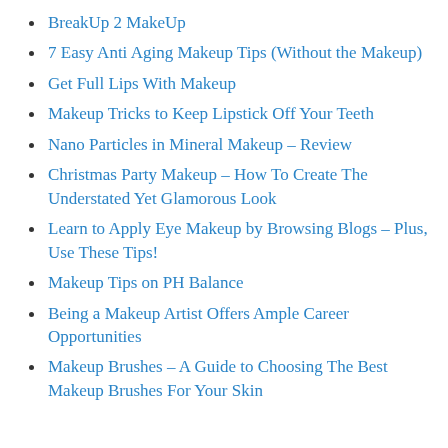BreakUp 2 MakeUp
7 Easy Anti Aging Makeup Tips (Without the Makeup)
Get Full Lips With Makeup
Makeup Tricks to Keep Lipstick Off Your Teeth
Nano Particles in Mineral Makeup – Review
Christmas Party Makeup – How To Create The Understated Yet Glamorous Look
Learn to Apply Eye Makeup by Browsing Blogs – Plus, Use These Tips!
Makeup Tips on PH Balance
Being a Makeup Artist Offers Ample Career Opportunities
Makeup Brushes – A Guide to Choosing The Best Makeup Brushes For Your Skin